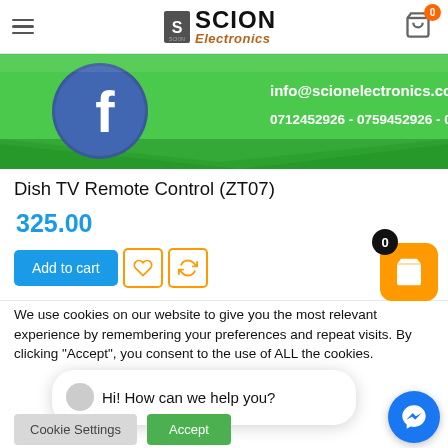Scion Electronics - header with hamburger menu, logo, and cart icon with badge 0
[Figure (screenshot): Facebook banner with green background showing Facebook logo circle, email info@scionelectronics.com and phone numbers 0712452926 - 0759452926 - 0114239682]
Dish TV Remote Control (ZT07)
325.00
Add to cart (button), wishlist icon, refresh icon
We use cookies on our website to give you the most relevant experience by remembering your preferences and repeat visits. By clicking “Accept”, you consent to the use of ALL the cookies.
not sell my personal information
Hi! How can we help you?
Cookie Settings | Accept